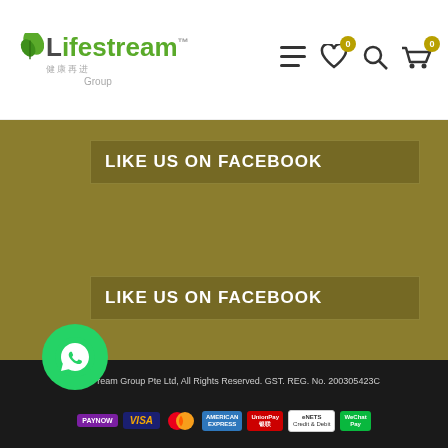[Figure (logo): Lifestream Group logo with green leaf, Chinese text 健康再进, and trademark symbol]
[Figure (infographic): Navigation icons: hamburger menu, heart with badge 0, search, cart with badge 0]
LIKE US ON FACEBOOK
LIKE US ON FACEBOOK
[Figure (infographic): Row of social/brand icons: AFC (red circle), LABO Nutrition (white circle), Twitter (blue circle), YouTube (red circle), LinkedIn (blue circle), Email (orange circle)]
[Figure (logo): PlanAdder logo on white circle]
[Figure (logo): WhatsApp green circle button]
© 20... ream Group Pte Ltd, All Rights Reserved. GST. REG. No. 200305423C
[Figure (infographic): Payment logos: PayNow, Visa, Mastercard, American Express, UnionPay, eNETS Credit & Debit, WeChat Pay]